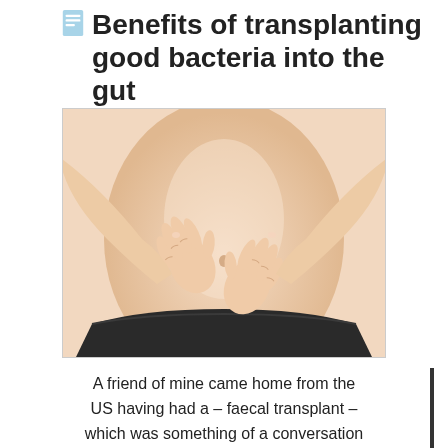Benefits of transplanting good bacteria into the gut
[Figure (photo): A person's midsection showing a woman forming a heart shape with her hands over her stomach/abdomen area, wearing dark underwear, white background.]
A friend of mine came home from the US having had a – faecal transplant – which was something of a conversation